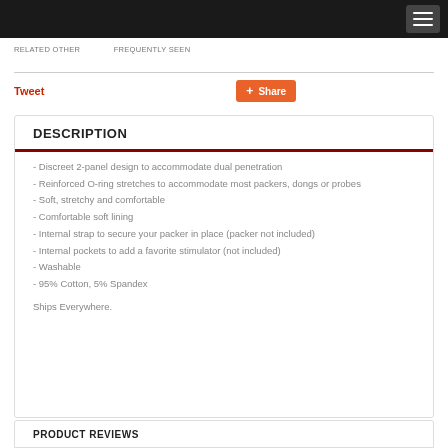Tweet   Share
DESCRIPTION
- Discreet 2-panel design to accommodate dual penetration
- Reinforced O-ring stretches to accommodate most packers, dongs or probes
- Soft, stretchy and comfortable
- Comfortable soft lining
- Internal strap to secure your packer in place (packer not included)
- Internal pockets to add a favorite stimulator (not included)
- Washable
- 95% Cotton, 5% Spandex
Ships Everywhere.
PRODUCT REVIEWS